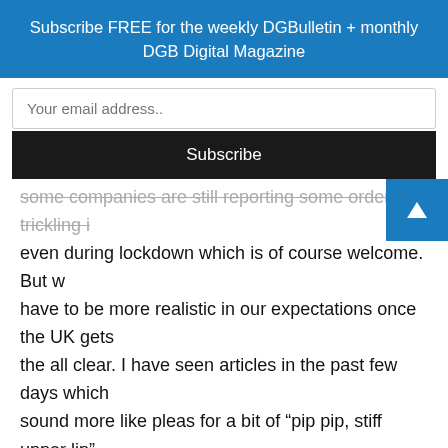Subscribe FREE for the weekly DGBulletin + monthly DGB Digital Magazine
some companies are still reporting some orders trickling in even during lockdown which is of course welcome. But we have to be more realistic in our expectations once the UK gets the all clear. I have seen articles in the past few days which sound more like pleas for a bit of “pip pip, stiff upper lip” instead of realistic analysis of the data and predictions coming from a plethora or respected business institutes. Of course forecasts are there to be beat, but we’re going to need a bit more than some positive vibes.
have put together a 10 point list for installers to make best use of their time during this crisis. The more agile out there